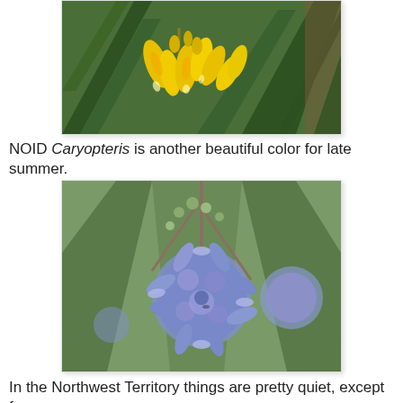[Figure (photo): Close-up photograph of yellow tubular flowers (Crocosmia or similar) with green spiky foliage in background]
NOID Caryopteris is another beautiful color for late summer.
[Figure (photo): Close-up photograph of blue-purple fluffy Caryopteris flowers with green foliage background]
In the Northwest Territory things are pretty quiet, except for